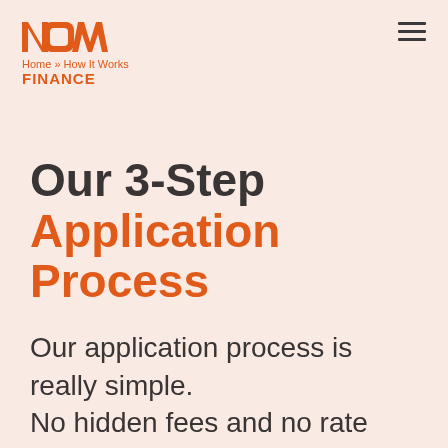NOW FINANCE — Home » How It Works — FINANCE
Our 3-Step Application Process
Our application process is really simple.
No hidden fees and no rate surprises.